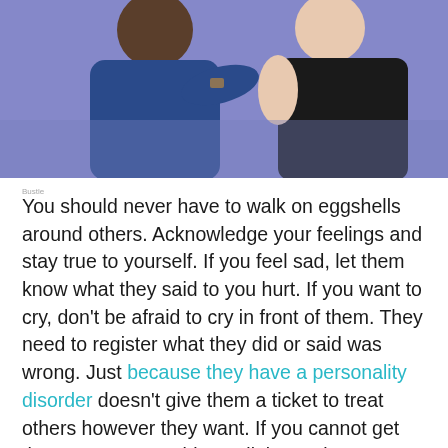[Figure (photo): Two people in a confrontational pose against a purple background; one person in a blue top appears to be shouting at another person in a black top.]
Bustle
You should never have to walk on eggshells around others. Acknowledge your feelings and stay true to yourself. If you feel sad, let them know what they said to you hurt. If you want to cry, don't be afraid to cry in front of them. They need to register what they did or said was wrong. Just because they have a personality disorder doesn't give them a ticket to treat others however they want. If you cannot get them to see your side at all, it may be beneficial to talk to a therapist. Getting therapy both together and alone can improve your outlook. Your opinions and feelings need to be validated. A therapist can provide techniques to use to combat their negativity toward you and can also help you understand what's going on inside their head. By learning typical behaviors of this personality disorder,